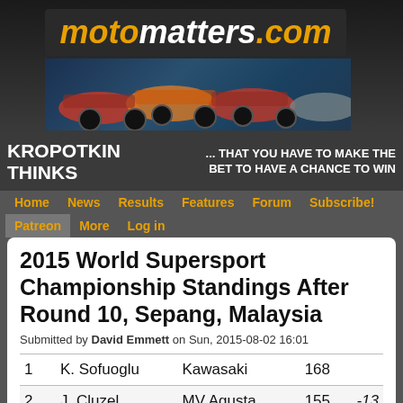[Figure (logo): motomatters.com logo with motorcycle racing banner image showing riders on track]
KROPOTKIN THINKS
... THAT YOU HAVE TO MAKE THE BET TO HAVE A CHANCE TO WIN
Home  News  Results  Features  Forum  Subscribe!  Patreon  More  Log in
2015 World Supersport Championship Standings After Round 10, Sepang, Malaysia
Submitted by David Emmett on Sun, 2015-08-02 16:01
|  | Name | Manufacturer | Points | Gap |
| --- | --- | --- | --- | --- |
| 1 | K. Sofuoglu | Kawasaki | 168 |  |
| 2 | J. Cluzel | MV Agusta | 155 | -13 |
| 3 | P. Jacobsen | Honda | 140 | -28 |